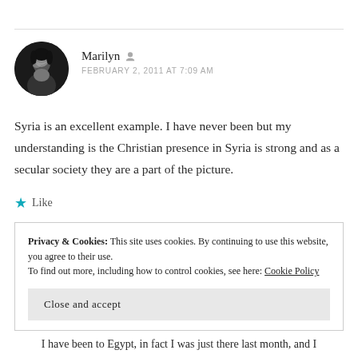[Figure (photo): Circular avatar photo of a woman with dark hair, black and white photo]
Marilyn
FEBRUARY 2, 2011 AT 7:09 AM
Syria is an excellent example. I have never been but my understanding is the Christian presence in Syria is strong and as a secular society they are a part of the picture.
Like
Privacy & Cookies: This site uses cookies. By continuing to use this website, you agree to their use.
To find out more, including how to control cookies, see here: Cookie Policy
Close and accept
I have been to Egypt, in fact I was just there last month, and I